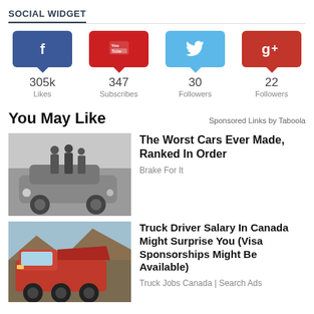SOCIAL WIDGET
[Figure (infographic): Social media widget showing Facebook (305k Likes), YouTube (347 Subscribes), Twitter (30 Followers), Google+ (22 Followers) counts with colored speech bubble icons]
You May Like
Sponsored Links by Taboola
[Figure (photo): Black and white photo of men in suits standing next to a vintage car]
The Worst Cars Ever Made, Ranked In Order
Brake For It
[Figure (photo): Photo of a large red dump truck on a dirt road]
Truck Driver Salary In Canada Might Surprise You (Visa Sponsorships Might Be Available)
Truck Jobs Canada | Search Ads